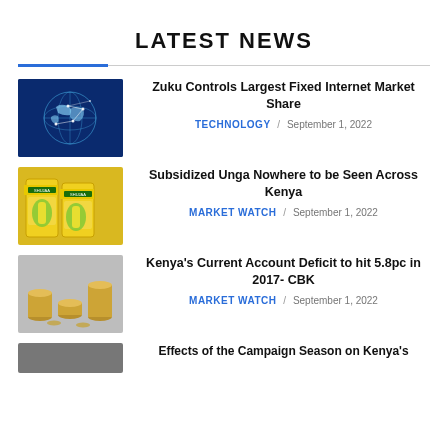LATEST NEWS
[Figure (photo): Globe with network connections on blue background]
Zuku Controls Largest Fixed Internet Market Share
TECHNOLOGY / September 1, 2022
[Figure (photo): Yellow bags of Shujaa maize flour]
Subsidized Unga Nowhere to be Seen Across Kenya
MARKET WATCH / September 1, 2022
[Figure (photo): Stacks of coins on gray background]
Kenya's Current Account Deficit to hit 5.8pc in 2017- CBK
MARKET WATCH / September 1, 2022
[Figure (photo): Misc photo partially visible]
Effects of the Campaign Season on Kenya's